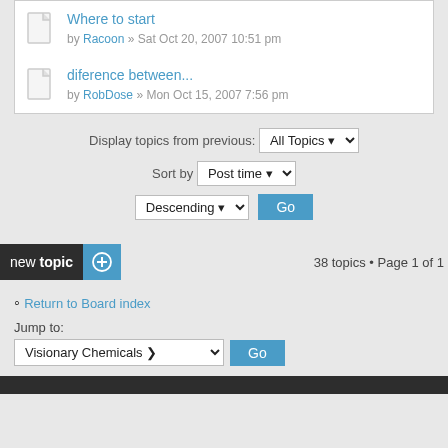Where to start by Racoon » Sat Oct 20, 2007 10:51 pm
diference between... by RobDose » Mon Oct 15, 2007 7:56 pm
Display topics from previous: All Topics
Sort by Post time
Descending Go
new topic  38 topics • Page 1 of 1
Return to Board index
Jump to:
Visionary Chemicals Go